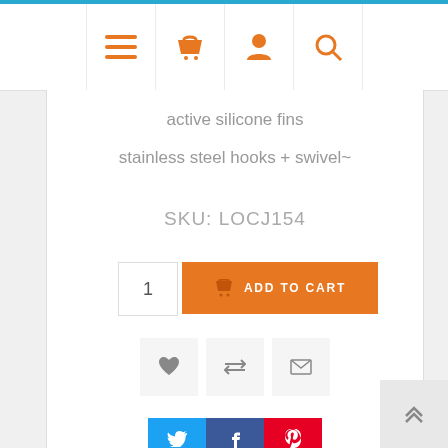[Figure (screenshot): Top navigation bar with blue stripe, four orange icons: hamburger menu, shopping basket, user profile, search magnifier]
active silicone fins
stainless steel hooks + swivel~
SKU: LOCJ154
[Figure (other): Quantity input box showing 1 and orange ADD TO CART button with basket icon]
[Figure (other): Three action icon buttons: heart (wishlist), compare arrows, envelope (email)]
[Figure (other): Social share buttons: Twitter (blue), Facebook (dark blue), Pinterest (red)]